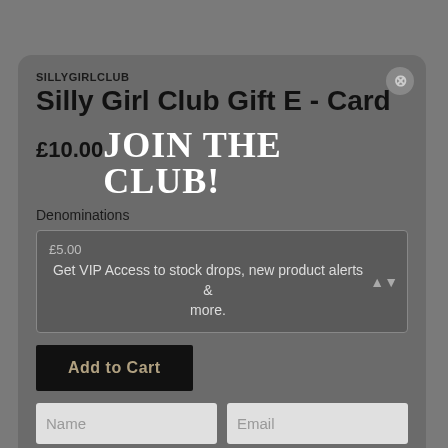SILLYGIRLCLUB
Silly Girl Club Gift E - Card
£10.00 JOIN THE CLUB!
Denominations
£5.00 Get VIP Access to stock drops, new product alerts & more.
Add to Cart
Name
Email
Stuck with the decision? Secret Santa? Got someone tricky to buy for?
OK
Want to treat a loved one to some Silly Girl Club clothing but want to let them choose themselves? Now